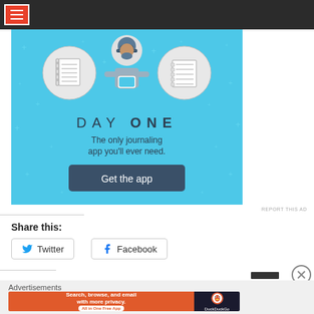[Figure (screenshot): Website navigation bar with red hamburger menu icon on dark background]
[Figure (illustration): Day One journaling app advertisement on light blue background with illustrated character holding phone, notebook icons, text 'DAY ONE - The only journaling app you'll ever need.' and 'Get the app' button]
REPORT THIS AD
Share this:
[Figure (screenshot): Twitter share button]
[Figure (screenshot): Facebook share button]
Advertisements
[Figure (screenshot): DuckDuckGo advertisement: Search, browse, and email with more privacy. All in One Free App]